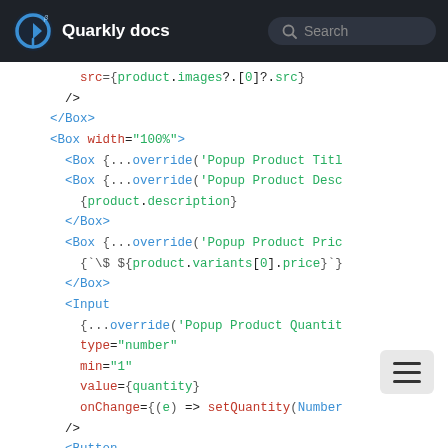Quarkly docs | Search
[Figure (screenshot): Quarkly docs logo with beta badge and search bar in dark header]
Code block showing JSX/React code snippet with Box, Input, and Button components using override patterns, product data bindings, and event handlers.